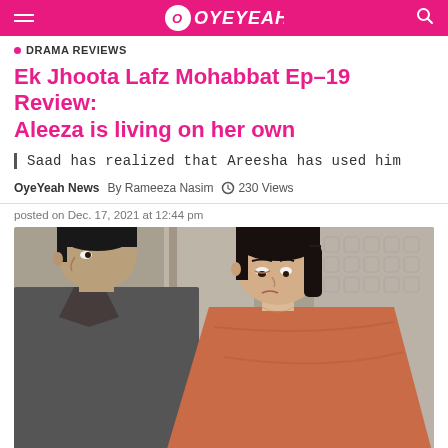OYEYEAH
DRAMA REVIEWS
Ek Jhoota Lafz Mohabbat Ep-19 Review: Aleeza is living on her own
Saad has realized that Areesha has used him
OyeYeah News  By Rameeza Nasim  230 Views
posted on Dec. 17, 2021 at 12:44 pm
[Figure (photo): A drama scene showing a man in a grey shirt looking sideways and a woman in an orange/salmon dupatta looking downward, appearing in a tense moment]